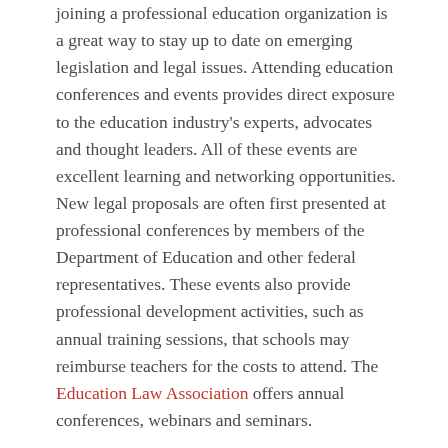joining a professional education organization is a great way to stay up to date on emerging legislation and legal issues. Attending education conferences and events provides direct exposure to the education industry's experts, advocates and thought leaders. All of these events are excellent learning and networking opportunities. New legal proposals are often first presented at professional conferences by members of the Department of Education and other federal representatives. These events also provide professional development activities, such as annual training sessions, that schools may reimburse teachers for the costs to attend. The Education Law Association offers annual conferences, webinars and seminars.
Continuing Education
Even if a school psychologist already has an advanced degree, taking an occasional refresher class will expose them to new information about